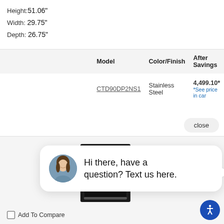Height: 51.06"
Width: 29.75"
Depth: 26.75"
|  | Model | Color/Finish | After Savings |
| --- | --- | --- | --- |
|  | CTD90DP2NS1 | Stainless Steel | 4,499.10* *See price in cart |
close
[Figure (screenshot): Chat widget with avatar photo of woman and text: Hi there, have a question? Text us here.]
[Figure (photo): Black double wall oven appliance]
[Figure (other): Blue circular chat icon button]
[Figure (other): Blue circular accessibility icon button]
Add To Compare